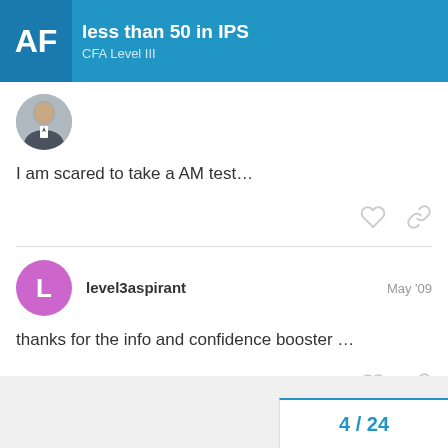less than 50 in IPS
CFA Level III
[Figure (photo): User avatar photo of a person in a suit]
I am scared to take a AM test…
level3aspirant    May '09
thanks for the info and confidence booster …
4 / 24